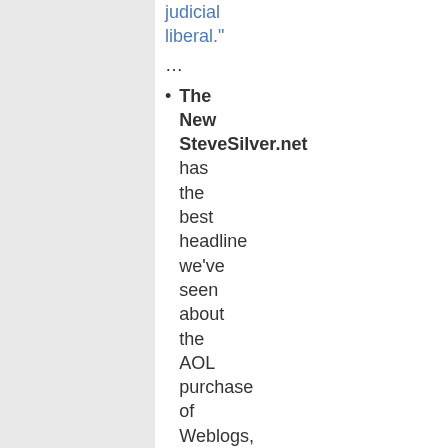judicial liberal."
…
The New SteveSilver.net has the best headline we've seen about the AOL purchase of Weblogs, Inc. for $25 million …